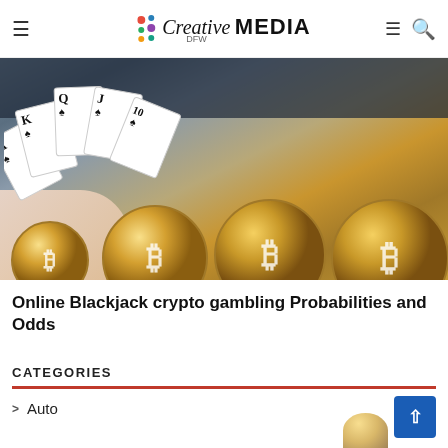Creative DFW MEDIA
[Figure (photo): Playing cards (A, K, Q, J, 10 of spades) held in a hand with several gold Bitcoin coins in the foreground on a dark background]
Online Blackjack crypto gambling Probabilities and Odds
CATEGORIES
Auto